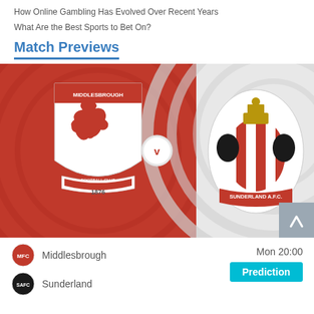How Online Gambling Has Evolved Over Recent Years
What Are the Best Sports to Bet On?
Match Previews
[Figure (screenshot): Match preview image showing Middlesbrough FC vs Sunderland AFC club crests side by side with a red background on the left and grey circular design on the right, with a 'V' badge in the center]
Middlesbrough
Mon 20:00
Sunderland
Prediction